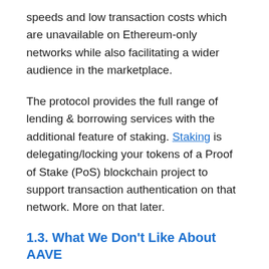speeds and low transaction costs which are unavailable on Ethereum-only networks while also facilitating a wider audience in the marketplace.
The protocol provides the full range of lending & borrowing services with the additional feature of staking. Staking is delegating/locking your tokens of a Proof of Stake (PoS) blockchain project to support transaction authentication on that network. More on that later.
1.3. What We Don't Like About AAVE